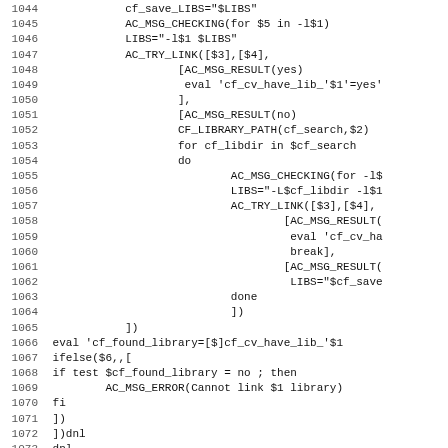Code listing lines 1044-1075, shell/autoconf macro script
1044    cf_save_LIBS="$LIBS"
1045    AC_MSG_CHECKING(for $5 in -l$1)
1046    LIBS="-l$1 $LIBS"
1047    AC_TRY_LINK([$3],[$4],
1048            [AC_MSG_RESULT(yes)
1049             eval 'cf_cv_have_lib_'$1'=yes'
1050            ],
1051            [AC_MSG_RESULT(no)
1052            CF_LIBRARY_PATH(cf_search,$2)
1053            for cf_libdir in $cf_search
1054            do
1055                    AC_MSG_CHECKING(for -l$
1056                    LIBS="-L$cf_libdir -l$1
1057                    AC_TRY_LINK([$3],[$4],
1058                            [AC_MSG_RESULT(
1059                             eval 'cf_cv_ha
1060                             break],
1061                            [AC_MSG_RESULT(
1062                             LIBS="$cf_save
1063                    done
1064                    ])
1065            ])
1066 eval 'cf_found_library=[$]cf_cv_have_lib_'$1
1067 ifelse($6,,[
1068 if test $cf_found_library = no ; then
1069         AC_MSG_ERROR(Cannot link $1 library)
1070 fi
1071 ])
1072 ])dnl
1073 dnl ---...---
1074 dnl CF_FIND_LINKAGE version: 21 updated: 2018/06/20 20:
1075 dnl ---...---